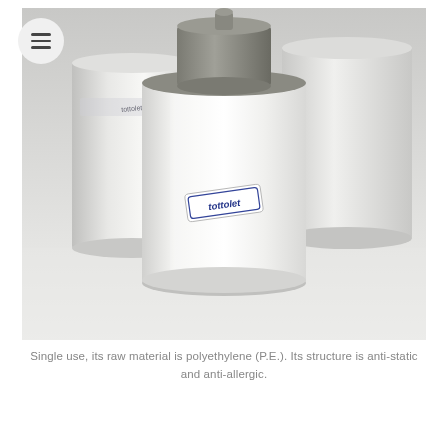[Figure (photo): Product photo showing multiple white cylindrical spools/bobbins of thread with a 'tottolet' brand label on the central one. The central spool has an olive/grey top cap with a nozzle. Background is light grey/white.]
Single use, its raw material is polyethylene (P.E.). Its structure is anti-static and anti-allergic.